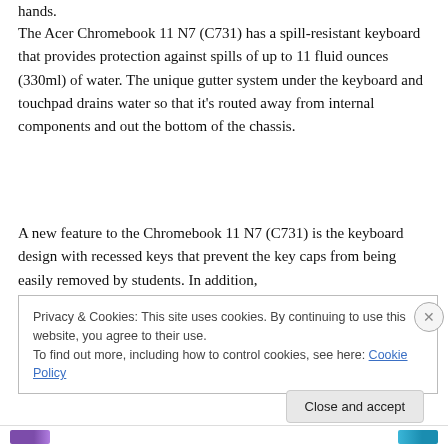hands.
The Acer Chromebook 11 N7 (C731) has a spill-resistant keyboard that provides protection against spills of up to 11 fluid ounces (330ml) of water. The unique gutter system under the keyboard and touchpad drains water so that it's routed away from internal components and out the bottom of the chassis.
A new feature to the Chromebook 11 N7 (C731) is the keyboard design with recessed keys that prevent the key caps from being easily removed by students. In addition,
Privacy & Cookies: This site uses cookies. By continuing to use this website, you agree to their use.
To find out more, including how to control cookies, see here: Cookie Policy
Close and accept